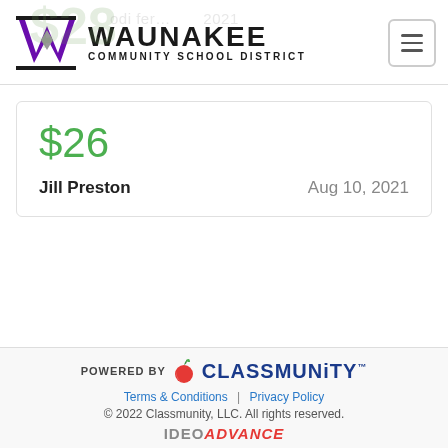[Figure (logo): Waunakee Community School District logo with purple W and school name]
$26
Jill Preston    Aug 10, 2021
POWERED BY CLASSMUNITY™
Terms & Conditions | Privacy Policy
© 2022 Classmunity, LLC. All rights reserved.
IDEOADVANCE